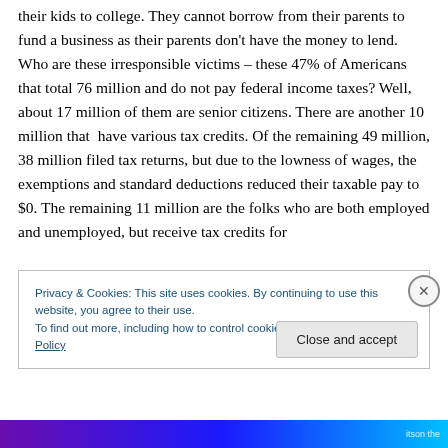their kids to college. They cannot borrow from their parents to fund a business as their parents don't have the money to lend. Who are these irresponsible victims – these 47% of Americans that total 76 million and do not pay federal income taxes? Well, about 17 million of them are senior citizens. There are another 10 million that have various tax credits. Of the remaining 49 million, 38 million filed tax returns, but due to the lowness of wages, the exemptions and standard deductions reduced their taxable pay to $0. The remaining 11 million are the folks who are both employed and unemployed, but receive tax credits for
Privacy & Cookies: This site uses cookies. By continuing to use this website, you agree to their use.
To find out more, including how to control cookies, see here: Cookie Policy
Close and accept